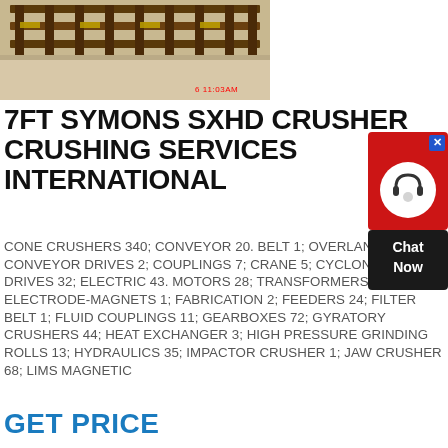[Figure (photo): Photograph of heavy industrial crusher machinery with steel frame/structure; timestamp '6 11:03AM' visible in red at bottom right of photo]
7FT SYMONS SXHD CRUSHER CRUSHING SERVICES INTERNATIONAL
CONE CRUSHERS 340; CONVEYOR 20. BELT 1; OVERLAND 1; CONVEYOR DRIVES 2; COUPLINGS 7; CRANE 5; CYCLONES 1; DRIVES 32; ELECTRIC 43. MOTORS 28; TRANSFORMERS 11; ELECTRODEMAGNETS 1; FABRICATION 2; FEEDERS 24; FILTER BELT 1; FLUID COUPLINGS 11; GEARBOXES 72; GYRATORY CRUSHERS 44; HEAT EXCHANGER 3; HIGH PRESSURE GRINDING ROLLS 13; HYDRAULICS 35; IMPACTOR CRUSHER 1; JAW CRUSHER 68; LIMS MAGNETIC
[Figure (other): Chat Now widget — red circular icon with headset silhouette, dark background with 'Chat Now' text, blue X close button in corner]
GET PRICE